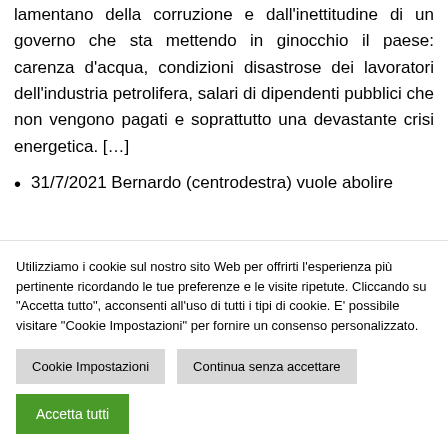lamentano della corruzione e dall'inettitudine di un governo che sta mettendo in ginocchio il paese: carenza d'acqua, condizioni disastrose dei lavoratori dell'industria petrolifera, salari di dipendenti pubblici che non vengono pagati e soprattutto una devastante crisi energetica. […]
31/7/2021 Bernardo (centrodestra) vuole abolire
Utilizziamo i cookie sul nostro sito Web per offrirti l'esperienza più pertinente ricordando le tue preferenze e le visite ripetute. Cliccando su "Accetta tutto", acconsenti all'uso di tutti i tipi di cookie. E' possibile visitare "Cookie Impostazioni" per fornire un consenso personalizzato.